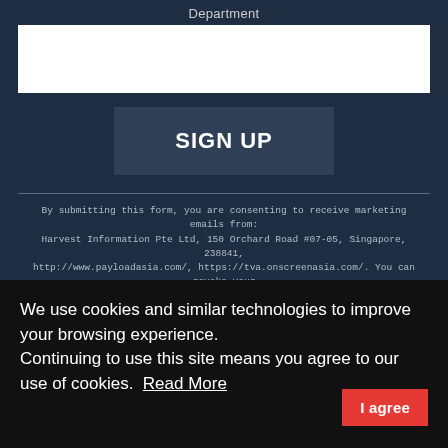Department
[Figure (other): White input field for Department form entry]
[Figure (other): SIGN UP button in dark blue]
By submitting this form, you are consenting to receive marketing emails from: Harvest Information Pte Ltd, 150 Orchard Road #07-05, Singapore, 238841, http://www.payloadasia.com/, https://tva.onscreenasia.com/. You can revoke your consent to receive emails at any time by using the SafeUnsubscribe® link, found at the bottom of every email. Emails are serviced by Constant Contact
We use cookies and similar technologies to improve your browsing experience.
Continuing to use this site means you agree to our use of cookies.
Read More
I agree